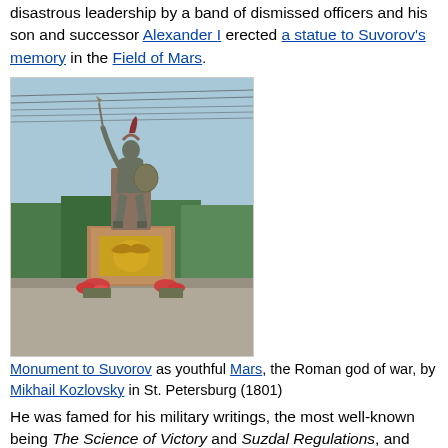disastrous leadership by a band of dismissed officers and his son and successor Alexander I erected a statue to Suvorov's memory in the Field of Mars.
[Figure (photo): Bronze statue of Suvorov depicted as youthful Mars, the Roman god of war, mounted on a tall granite pedestal with a golden eagle relief, surrounded by flowers, with trees and power lines in the background. St. Petersburg, 1801.]
Monument to Suvorov as youthful Mars, the Roman god of war, by Mikhail Kozlovsky in St. Petersburg (1801)
He was famed for his military writings, the most well-known being The Science of Victory and Suzdal Regulations, and lesser-known